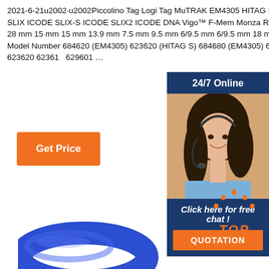2021-6-21u2002-u2002Piccolino Tag Logi Tag MuTRAK EM4305 HITAG S HITAG S ICODE SLIX ICODE SLIX-S ICODE SLIX2 ICODE DNA Vigo™ F-Mem Monza R6-P M730 24 mm 28 mm 15 mm 15 mm 13.9 mm 7.5 mm 9.5 mm 6/9.5 mm 6/9.5 mm 18 mm 7 mm Base Model Number 684620 (EM4305) 623620 (HITAG S) 684680 (EM4305) 623610 (HITAG S) 623620 623610 629601 …
[Figure (photo): Customer service representative woman with headset, 24/7 Online sidebar with blue background, chat and quotation button]
[Figure (other): TOP badge with orange dots in arc and orange italic TOP text]
[Figure (photo): Blue silicone RFID wristband ring at bottom of page]
Get Price
24/7 Online
Click here for free chat !
QUOTATION